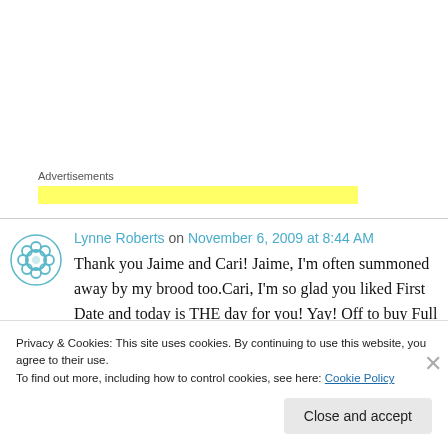Advertisements
[Figure (other): Yellow highlighted advertisement bar placeholder]
Lynne Roberts on November 6, 2009 at 8:44 AM
Thank you Jaime and Cari! Jaime, I'm often summoned away by my brood too.Cari, I'm so glad you liked First Date and today is THE day for you! Yay! Off to buy Full Disclosure.Lia,
Privacy & Cookies: This site uses cookies. By continuing to use this website, you agree to their use.
To find out more, including how to control cookies, see here: Cookie Policy